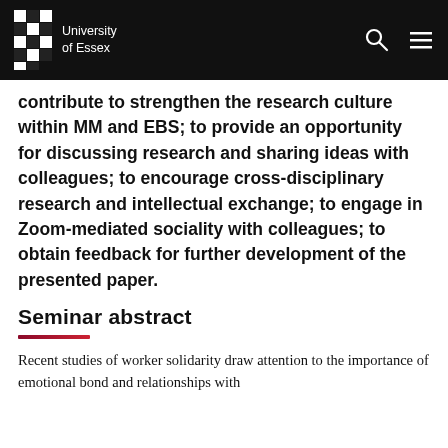University of Essex
contribute to strengthen the research culture within MM and EBS; to provide an opportunity for discussing research and sharing ideas with colleagues; to encourage cross-disciplinary research and intellectual exchange; to engage in Zoom-mediated sociality with colleagues; to obtain feedback for further development of the presented paper.
Seminar abstract
Recent studies of worker solidarity draw attention to the importance of emotional bond and relationships with other members for solidarity between workers